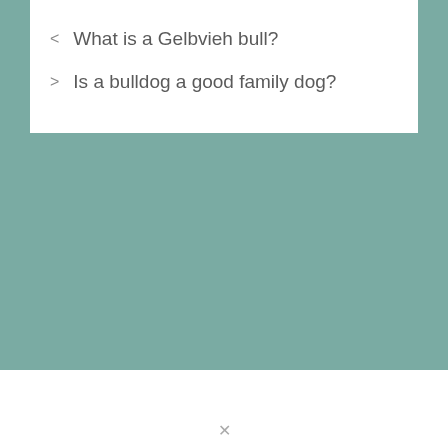What is a Gelbvieh bull?
Is a bulldog a good family dog?